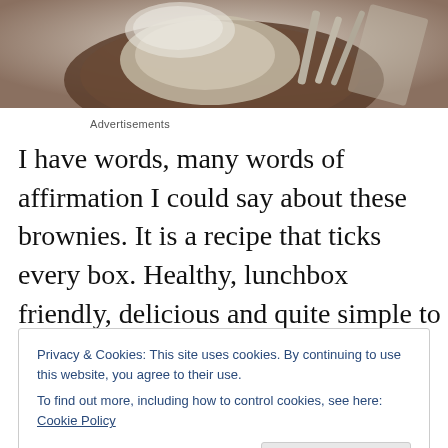[Figure (photo): Top-down view of a table setting with a woven dark tray, burlap/linen fabric, and vintage silverware/utensils on a light surface]
Advertisements
I have words, many words of affirmation I could say about these brownies. It is a recipe that ticks every box. Healthy, lunchbox friendly, delicious and quite simple to make with
Privacy & Cookies: This site uses cookies. By continuing to use this website, you agree to their use.
To find out more, including how to control cookies, see here: Cookie Policy
Close and accept